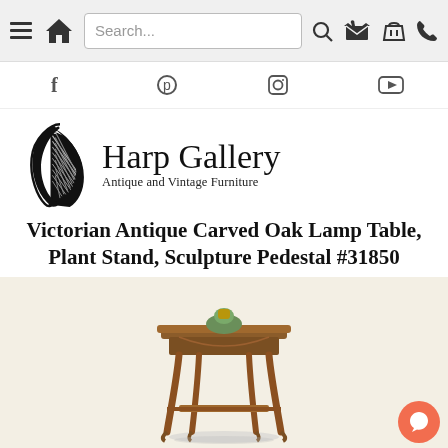Navigation bar with hamburger menu, home icon, search box, search icon, basket icon, phone icon
[Figure (screenshot): Social media icons bar: Facebook, Pinterest, Instagram, YouTube]
[Figure (logo): Harp Gallery logo with harp illustration and text 'Harp Gallery - Antique and Vintage Furniture']
Victorian Antique Carved Oak Lamp Table, Plant Stand, Sculpture Pedestal #31850
[Figure (photo): Victorian antique carved oak lamp table / plant stand / sculpture pedestal, shown against a light cream background with a small plant on top]